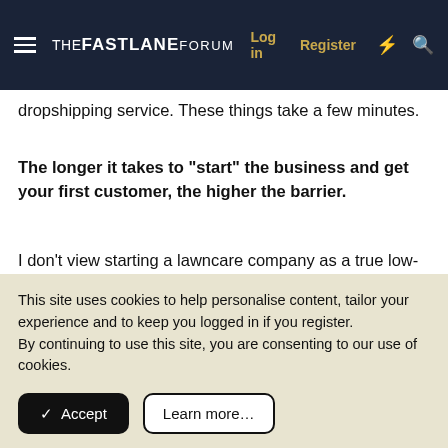THE FASTLANE FORUM — Log in | Register
dropshipping service. These things take a few minutes.
The longer it takes to "start" the business and get your first customer, the higher the barrier.
I don't view starting a lawncare company as a true low-barrier business because it still will take you several weeks to get started, at least on a playing field were you can acquire customers. That said, it is a "lower-barrier" business so competition will be above average, but much of that
This site uses cookies to help personalise content, tailor your experience and to keep you logged in if you register.
By continuing to use this site, you are consenting to our use of cookies.
✓ Accept | Learn more...